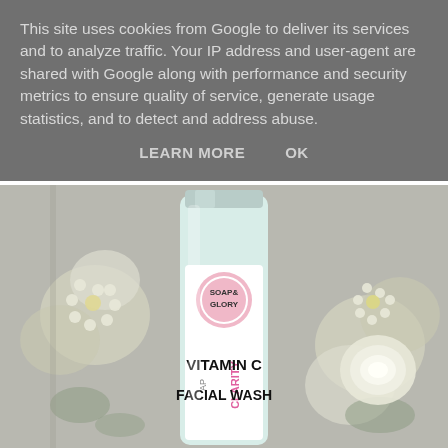This site uses cookies from Google to deliver its services and to analyze traffic. Your IP address and user-agent are shared with Google along with performance and security metrics to ensure quality of service, generate usage statistics, and to detect and address abuse.
LEARN MORE    OK
[Figure (photo): A Soap & Glory 'Clarity' Vitamin C Facial Wash tube product photo surrounded by white flowers on a light background]